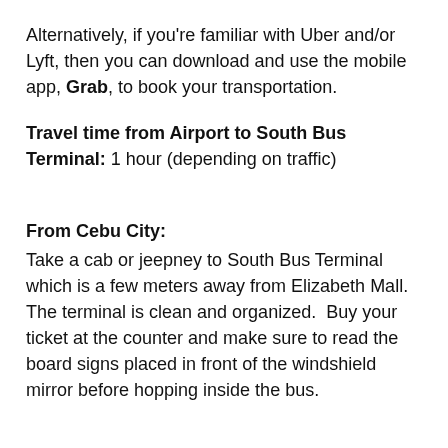Alternatively, if you're familiar with Uber and/or Lyft, then you can download and use the mobile app, Grab, to book your transportation.
Travel time from Airport to South Bus Terminal: 1 hour (depending on traffic)
From Cebu City:
Take a cab or jeepney to South Bus Terminal which is a few meters away from Elizabeth Mall.  The terminal is clean and organized.  Buy your ticket at the counter and make sure to read the board signs placed in front of the windshield mirror before hopping inside the bus.